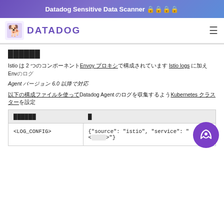Datadog Sensitive Data Scanner 🔒🔒🔒🔒
[Figure (logo): Datadog logo with dog icon and DATADOG wordmark in purple]
██████
Istio は 2 つのコンポーネントEnvoy プロキシで構成されています Istio logs に加え Env のログ
Agent バージョン 6.0 以降で対応
以下の構成ファイルを使って Datadog Agent のログを収集するよう Kubernetes クラスターを設定
| ██████████ | █ |
| --- | --- |
| <LOG_CONFIG> | {"source": "istio", "service": "<  >"} |